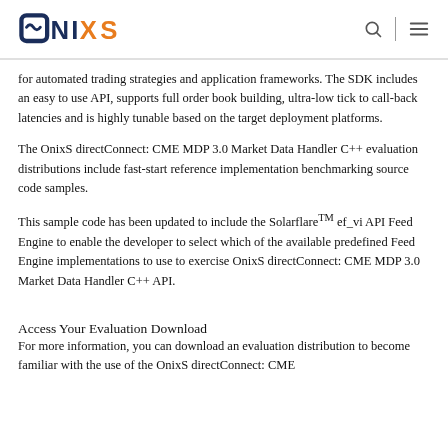ONIXS
for automated trading strategies and application frameworks. The SDK includes an easy to use API, supports full order book building, ultra-low tick to call-back latencies and is highly tunable based on the target deployment platforms.
The OnixS directConnect: CME MDP 3.0 Market Data Handler C++ evaluation distributions include fast-start reference implementation benchmarking source code samples.
This sample code has been updated to include the SolarflareTM ef_vi API Feed Engine to enable the developer to select which of the available predefined Feed Engine implementations to use to exercise OnixS directConnect: CME MDP 3.0 Market Data Handler C++ API.
Access Your Evaluation Download
For more information, you can download an evaluation distribution to become familiar with the use of the OnixS directConnect: CME